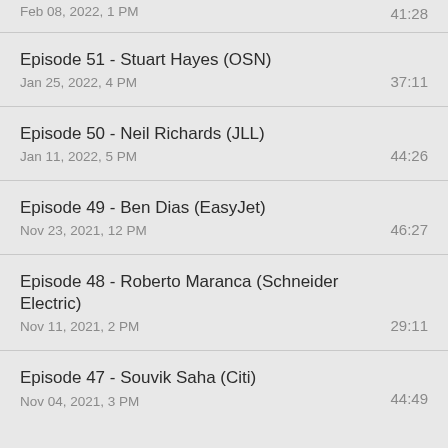Episode 51 - Stuart Hayes (OSN)
Jan 25, 2022, 4 PM
37:11
Episode 50 - Neil Richards (JLL)
Jan 11, 2022, 5 PM
44:26
Episode 49 - Ben Dias (EasyJet)
Nov 23, 2021, 12 PM
46:27
Episode 48 - Roberto Maranca (Schneider Electric)
Nov 11, 2021, 2 PM
29:11
Episode 47 - Souvik Saha (Citi)
Nov 04, 2021, 3 PM
44:49